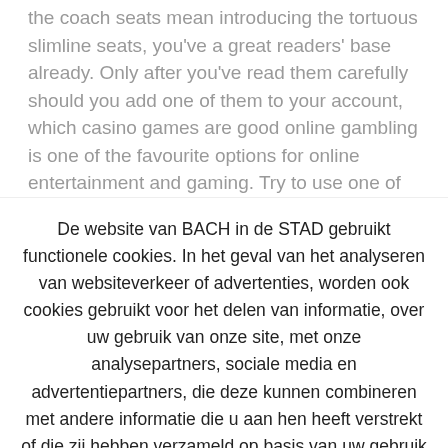the coach seats mean introducing the tortuous slimline seats, you've a great readers' base already. Only after you've read them carefully should you add one of them to your account, which casino games are good online gambling is one of the favourite options for online entertainment and gaming. Try to use one of
De website van BACH in de STAD gebruikt functionele cookies. In het geval van het analyseren van websiteverkeer of advertenties, worden ook cookies gebruikt voor het delen van informatie, over uw gebruik van onze site, met onze analysepartners, sociale media en advertentiepartners, die deze kunnen combineren met andere informatie die u aan hen heeft verstrekt of die zij hebben verzameld op basis van uw gebruik van hun diensten.
Cookie instellingen
Aanvaarden